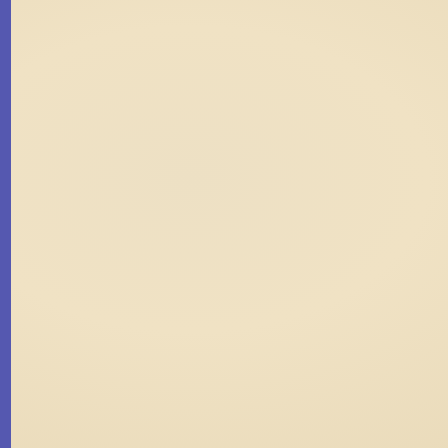[Figure (photo): Left panel: cream/beige textured background with blue borders on left and right sides]
[Figure (photo): Product image: CD/disc with case - Sing Blue Guitar Classics Ckc Songs]
Sing Blue Guitar Classics Ckc Songs $11.99
[Figure (photo): Product image: Black dynamic microphone with cable]
Dynamic Microphone w/Extra Adapter Systems & C... 3.5mm & 6.3mm
[Figure (photo): Product image: Multiple colored wireless karaoke microphones (gold, blue, red, silver, black)]
Wireless Bluetooth Handheld Karaoke Microphone Speaker Player Mic Pa... $14.95
[Figure (photo): Product image: UHF wireless microphone system with headset and transmitter]
$49.99